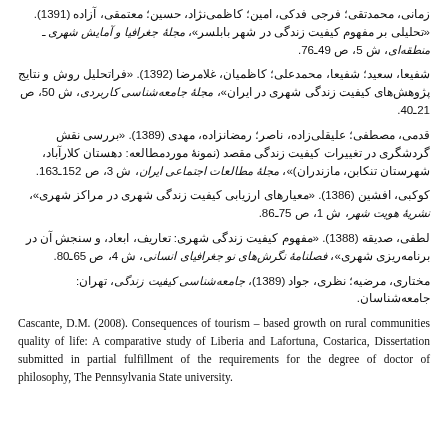زمانی، محمدتقی؛ فرجی فدکی، امین؛ کاظمی‌نژاد، حسین؛ معتمقی، آزاده (1391). «تحلیلی بر مفهوم کیفیت زندگی در شهر بابلسر»، مجلۀ جغرافیا و آمایش شهری ـ منطقه‌ای، ش 5، ص 49ـ76.
شفیعا، سعید؛ شفیعا، محمدعلی؛ کاظمیان، غلامرضا (1392). «فراتحلیل روش و نتایج پژوهش‌های کیفیت زندگی شهری در ایران»، مجلۀ جامعه‌شناسی کاربردی، ش 50، ص 21ـ40.
قدمی، مصطفی؛ علیقلی‌زاده، ناصر؛ رمضانزاده، مهدی (1389). «بررسی نقش گردشگری در تغییرات کیفیت زندگی مقصد (نمونۀ موردمطالعه: دهستان کلارآباد، شهرستان تنکابن، مازندران)»، مجلۀ مطالعات اجتماعی ایران، ش 3، ص 152ـ163.
کوکبی، افشین (1386). «معیارهای ارزیابی کیفیت زندگی شهری در مراکز شهری»، نشریۀ هویت شهر، ش 1، ص 75ـ86.
لطفی، صدیقه (1388). «مفهوم کیفیت زندگی شهری: تعاریف، ابعاد، و سنجش آن در برنامه‌ریزی شهری»، فصلنامۀ نگرش‌های نو جغرافیای انسانی، ش 4، ص 65ـ80.
مختاری، مرضیه؛ نظری، جواد (1389)، جامعه‌شناسی کیفیت زندگی، تهران: جامعه‌شناسان.
Cascante, D.M. (2008). Consequences of tourism – based growth on rural communities quality of life: A comparative study of Liberia and Lafortuna, Costarica, Dissertation submitted in partial fulfillment of the requirements for the degree of doctor of philosophy, The Pennsylvania State university.